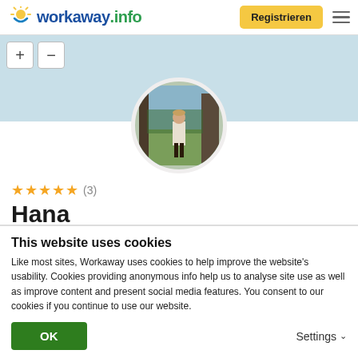[Figure (logo): Workaway.info logo with sun icon]
Registrieren
[Figure (photo): Map area with blue background and zoom + and - buttons]
[Figure (photo): Circular profile photo of a person standing in a field/greenhouse]
★★★★★ (3)
Hana
This website uses cookies
Like most sites, Workaway uses cookies to help improve the website's usability. Cookies providing anonymous info help us to analyse site use as well as improve content and present social media features.  You consent to our cookies if you continue to use our website.
OK
Settings